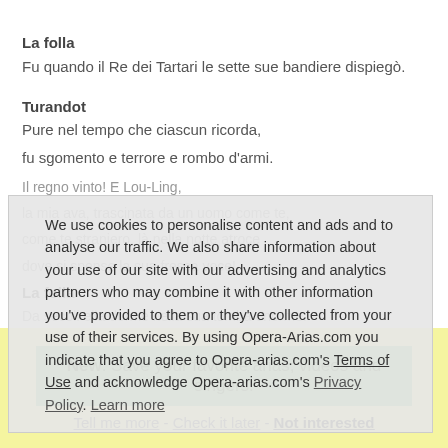La folla
Fu quando il Re dei Tartari le sette sue bandiere dispiegò.
Turandot
Pure nel tempo che ciascun ricorda,
fu sgomento e terrore e rombo d'armi.
Il regno vinto! E Lou-Ling,
la mia ava, trascinata da un uomo come te,
come te straniero, là nella notte atroce
dove si spense la sua fresca voce!
La folla
Da secoli ella dorme nella sua tomba enorme.
Turandot
O Principi che a lunghe carovane
d'ogni parte del mondo qui venite
a gettar la vostra sorte
io vendico su voi, su voi quella purezza,
quel grido e quella morte!
We use cookies to personalise content and ads and to analyse our traffic. We also share information about your use of our site with our advertising and analytics partners who may combine it with other information you've provided to them or they've collected from your use of their services. By using Opera-Arias.com you indicate that you agree to Opera-arias.com's Terms of Use and acknowledge Opera-arias.com's Privacy Policy. Learn more
New: Save your favorite arias, videos and singers!
Tell me more - Check it later - Not interested